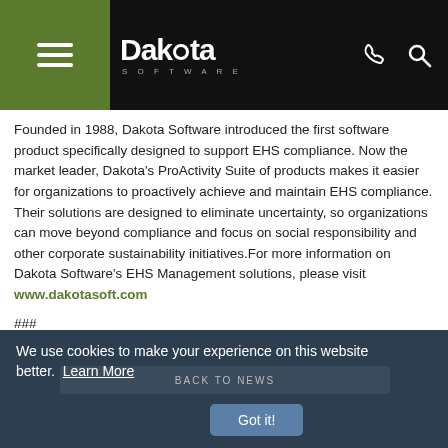[Figure (logo): Dakota Software logo with hamburger menu icon on dark/green header bar with phone and search icons]
Founded in 1988, Dakota Software introduced the first software product specifically designed to support EHS compliance. Now the market leader, Dakota's ProActivity Suite of products makes it easier for organizations to proactively achieve and maintain EHS compliance. Their solutions are designed to eliminate uncertainty, so organizations can move beyond compliance and focus on social responsibility and other corporate sustainability initiatives.For more information on Dakota Software's EHS Management solutions, please visit www.dakotasoft.com
###
We use cookies to make your experience on this website better.  Learn More
Got it!
BACK TO NEWS